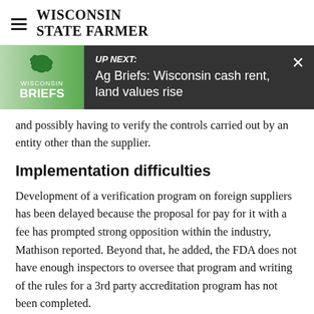WISCONSIN STATE FARMER
[Figure (other): UP NEXT banner with Wisconsin Briefs logo (green state outline, WISCONSIN BRIEFS text) and headline: Ag Briefs: Wisconsin cash rent, land values rise. Close (×) button in top right.]
and possibly having to verify the controls carried out by an entity other than the supplier.
Implementation difficulties
Development of a verification program on foreign suppliers has been delayed because the proposal for pay for it with a fee has prompted strong opposition within the industry, Mathison reported. Beyond that, he added, the FDA does not have enough inspectors to oversee that program and writing of the rules for a 3rd party accreditation program has not been completed.